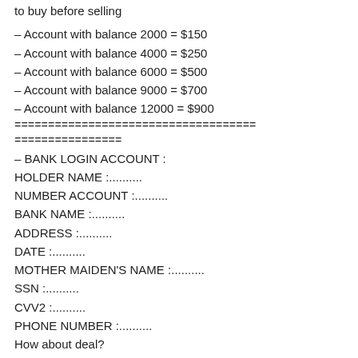to buy before selling
– Account with balance 2000 = $150
– Account with balance 4000 = $250
– Account with balance 6000 = $500
– Account with balance 9000 = $700
– Account with balance 12000 = $900
====================================
================
– BANK LOGIN ACCOUNT :
HOLDER NAME :..........
NUMBER ACCOUNT :..........
BANK NAME :..........
ADDRESS :..........
DATE :..........
MOTHER MAIDEN'S NAME :..........
SSN :..........
CVV2 :..........
PHONE NUMBER :..........
How about deal?
– You make payment then send me payment info and your Bank details
– If we check you have sent money we